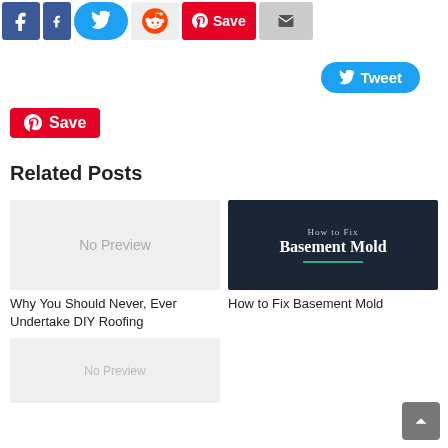[Figure (screenshot): Social sharing buttons row: Facebook, Twitter, Reddit, Pinterest Save, Mail]
[Figure (screenshot): Tweet button (blue pill shape)]
[Figure (screenshot): Pinterest Save button (red)]
Related Posts
[Figure (photo): No Preview placeholder image for Why You Should Never, Ever Undertake DIY Roofing]
Why You Should Never, Ever Undertake DIY Roofing
[Figure (photo): How to Fix Basement Mold - dark background with text overlay]
How to Fix Basement Mold
[Figure (photo): No Preview placeholder image (partial, bottom of page)]